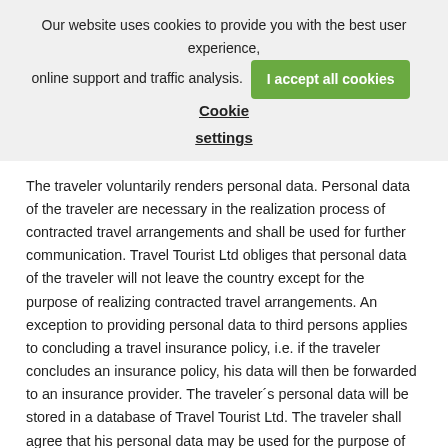Our website uses cookies to provide you with the best user experience, online support and traffic analysis. I accept all cookies Cookie settings
The traveler voluntarily renders personal data. Personal data of the traveler are necessary in the realization process of contracted travel arrangements and shall be used for further communication. Travel Tourist Ltd obliges that personal data of the traveler will not leave the country except for the purpose of realizing contracted travel arrangements. An exception to providing personal data to third persons applies to concluding a travel insurance policy, i.e. if the traveler concludes an insurance policy, his data will then be forwarded to an insurance provider. The traveler´s personal data will be stored in a database of Travel Tourist Ltd. The traveler shall agree that his personal data may be used for the purpose of Travel Tourist´s marketing actions.
[Figure (other): Blue chat button with text 'Eine Nachricht hinterlass...' and a chat bubble icon]